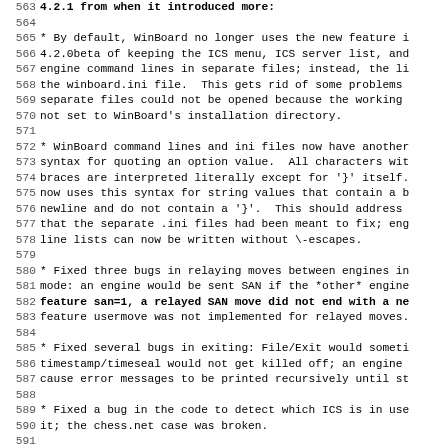Lines 563-595 of a software changelog/readme file showing WinBoard version notes. Line numbers 563-595 visible. Content describes bug fixes and feature changes in WinBoard including ICS menu handling, command line syntax, relaying moves between engines, exit bugs, ICS detection, alias suppression, and FICS prompt handling.